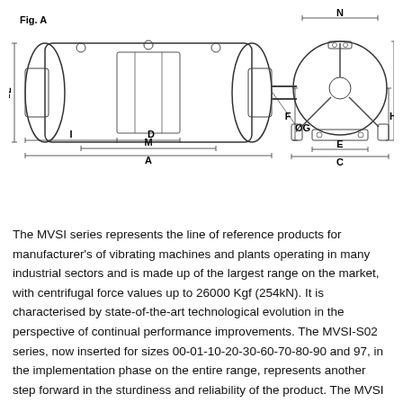[Figure (engineering-diagram): Technical drawing of MVSI vibrator motor shown in two views: side view (Fig. A) on the left with dimension labels L, I, M, A, D, ØG, and front/end view on the right with dimension labels N, B, H, F, E, C.]
The MVSI series represents the line of reference products for manufacturer's of vibrating machines and plants operating in many industrial sectors and is made up of the largest range on the market, with centrifugal force values up to 26000 Kgf (254kN). It is characterised by state-of-the-art technological evolution in the perspective of continual performance improvements. The MVSI-S02 series, now inserted for sizes 00-01-10-20-30-60-70-80-90 and 97, in the implementation phase on the entire range, represents another step forward in the sturdiness and reliability of the product. The MVSI series has been conceived to guarantee